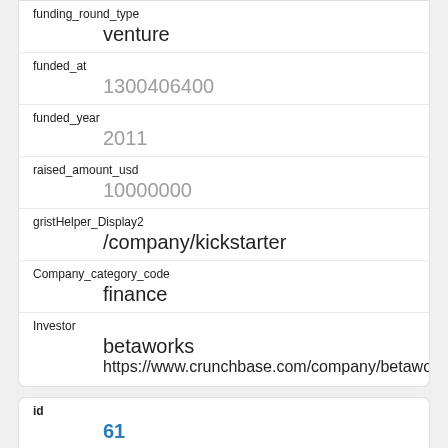funding_round_type
venture
funded_at
1300406400
funded_year
2011
raised_amount_usd
10000000
gristHelper_Display2
/company/kickstarter
Company_category_code
finance
Investor
betaworks
https://www.crunchbase.com/company/betaworks
id
61
manualSort
61